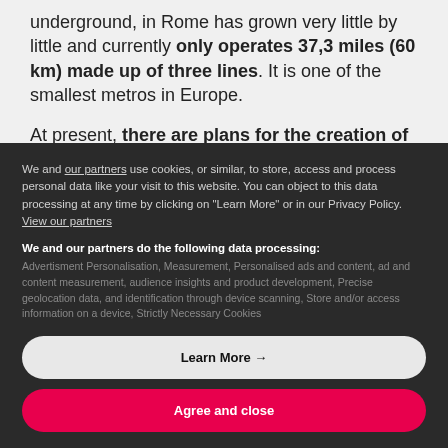underground, in Rome has grown very little by little and currently only operates 37,3 miles (60 km) made up of three lines. It is one of the smallest metros in Europe.
At present, there are plans for the creation of a fourth line. The reason why the metro system is
We and our partners use cookies, or similar, to store, access and process personal data like your visit to this website. You can object to this data processing at any time by clicking on "Learn More" or in our Privacy Policy. View our partners
We and our partners do the following data processing:
Advertisment Personalisation, Measurement, Personalised ads and content, ad and content measurement, audience insights and product development, Precise geolocation data, and identification through device scanning, Store and/or access information on a device, Strictly Necessary Cookies